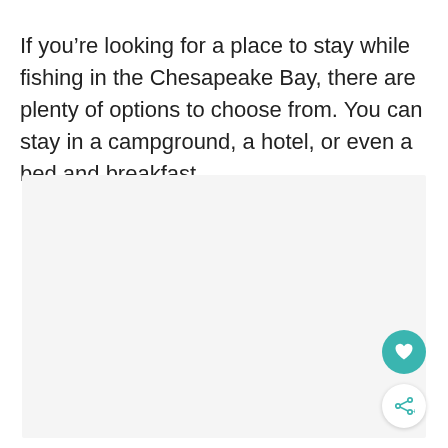If you’re looking for a place to stay while fishing in the Chesapeake Bay, there are plenty of options to choose from. You can stay in a campground, a hotel, or even a bed and breakfast.
[Figure (photo): Large light gray rectangular placeholder image area below the text block, representing a photo or image content area.]